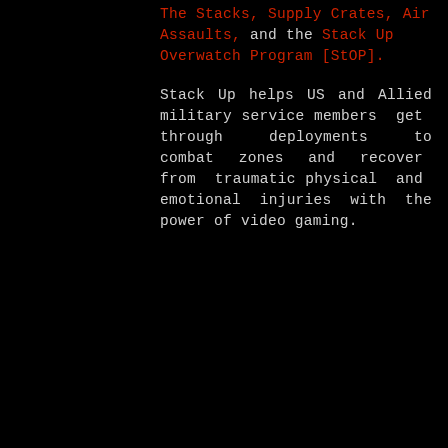The Stacks, Supply Crates, Air Assaults, and the Stack Up Overwatch Program [StOP].
Stack Up helps US and Allied military service members get through deployments to combat zones and recover from traumatic physical and emotional injuries with the power of video gaming.